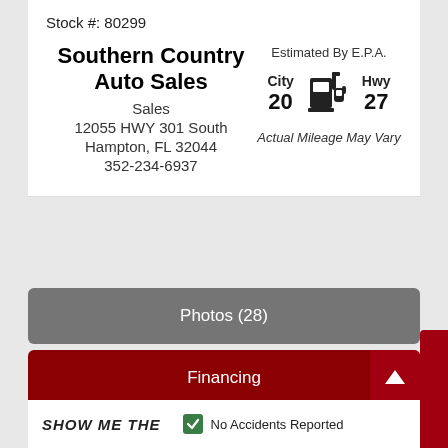Stock #: 80299
Southern Country Auto Sales
Sales
12055 HWY 301 South
Hampton, FL 32044
352-234-6937
[Figure (infographic): EPA fuel economy: City 20, Hwy 27 MPG with gas pump icon and note 'Actual Mileage May Vary']
Photos (28)
Financing
SHOW ME THE
No Accidents Reported